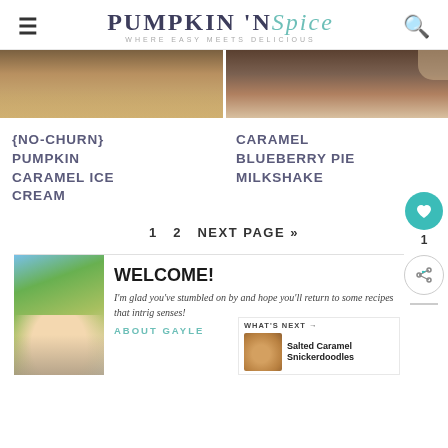PUMPKIN 'N Spice — WHERE EASY MEETS DELICIOUS
[Figure (photo): Two food photos side by side — left shows a pumpkin caramel ice cream, right shows a caramel blueberry pie milkshake]
{NO-CHURN} PUMPKIN CARAMEL ICE CREAM
CARAMEL BLUEBERRY PIE MILKSHAKE
1   2   NEXT PAGE »
[Figure (photo): Author photo — blonde woman smiling outdoors]
WELCOME!
I'm glad you've stumbled on by and hope you'll return to some recipes that intrig senses!
ABOUT GAYLE
[Figure (photo): What's Next thumbnail — Salted Caramel Snickerdoodles cookie photo]
WHAT'S NEXT → Salted Caramel Snickerdoodles